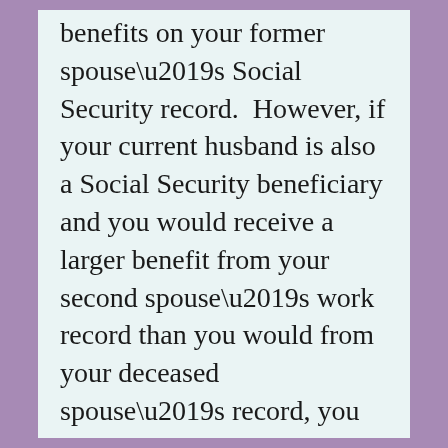benefits on your former spouse’s Social Security record.  However, if your current husband is also a Social Security beneficiary and you would receive a larger benefit from your second spouse’s work record than you would from your deceased spouse’s record, you should apply for spousal benefits on your current spouse’s record.  You cannot receive both benefits.
Regardless of your age or marital status, if you are caring for your deceased spouse’s child or children, you would be eligible to receive benefits from visiting them until th...